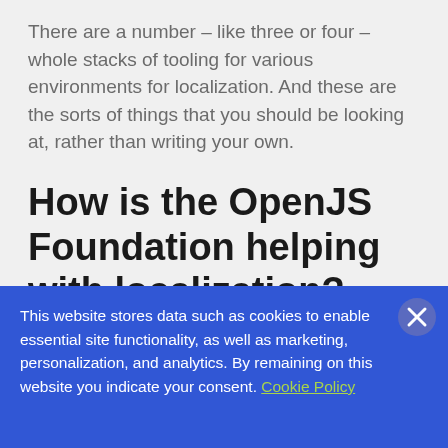There are a number – like three or four – whole stacks of tooling for various environments for localization. And these are the sorts of things that you should be looking at, rather than writing your own.
How is the OpenJS Foundation helping with localization?
We'll do so with a number of current...
This website stores data such as cookies to enable essential site functionality, as well as marketing, personalization, and analytics. By remaining on this website you indicate your consent. Cookie Policy